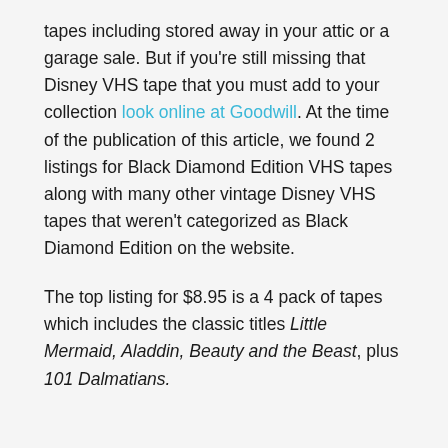tapes including stored away in your attic or a garage sale. But if you're still missing that Disney VHS tape that you must add to your collection look online at Goodwill. At the time of the publication of this article, we found 2 listings for Black Diamond Edition VHS tapes along with many other vintage Disney VHS tapes that weren't categorized as Black Diamond Edition on the website.
The top listing for $8.95 is a 4 pack of tapes which includes the classic titles Little Mermaid, Aladdin, Beauty and the Beast, plus 101 Dalmatians.